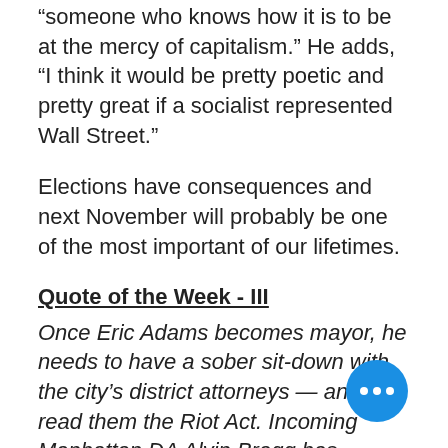“someone who knows how it is to be at the mercy of capitalism.” He adds, “I think it would be pretty poetic and pretty great if a socialist represented Wall Street.”
Elections have consequences and next November will probably be one of the most important of our lifetimes.
Quote of the Week - III
Once Eric Adams becomes mayor, he needs to have a sober sit-down with the city’s district attorneys — and read them the Riot Act. Incoming Manhattan DA Alvin Bragg has already posted a laundry list of crimes he won’t prosecute. Adams should make clear that tolerating lawlessness will have